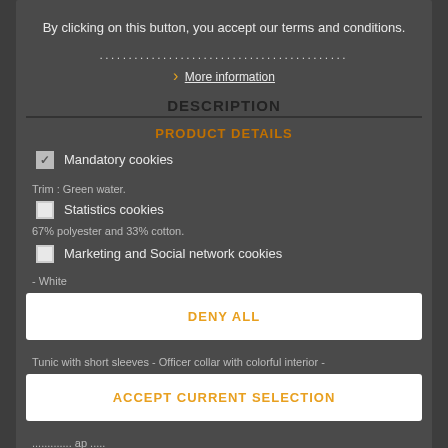By clicking on this button, you accept our terms and conditions.
More information
DESCRIPTION
PRODUCT DETAILS
Mandatory cookies
Trim : Green water.
Statistics cookies
67% polyester and 33% cotton.
Marketing and Social network cookies
- White
Tunic with short sleeves - Officer collar with colorful interior -
DENY ALL
ACCEPT CURRENT SELECTION
ACCEPT ALL